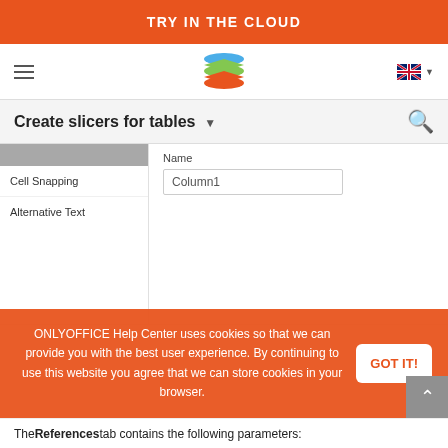TRY IN THE CLOUD
[Figure (logo): ONLYOFFICE stacked layers logo in blue, green, and orange]
Create slicers for tables
Cell Snapping
Alternative Text
Name
Column1
ONLYOFFICE Help Center uses cookies so that we can provide you with the best user experience. By continuing to use this website you agree that we can store cookies in your browser.
The References tab contains the following parameters: